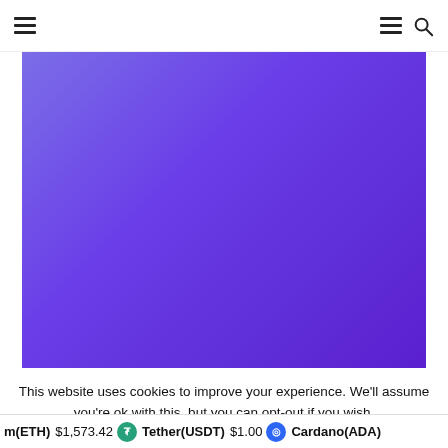Navigation header with hamburger menu (left), hamburger menu and search icon (right)
[Figure (illustration): Large purple gradient rectangle, transitioning from light purple/blue at top-left to deep purple at bottom-right]
This website uses cookies to improve your experience. We'll assume you're ok with this, but you can opt-out if you wish.
m(ETH) $1,573.42  Tether(USDT) $1.00  Cardano(ADA)